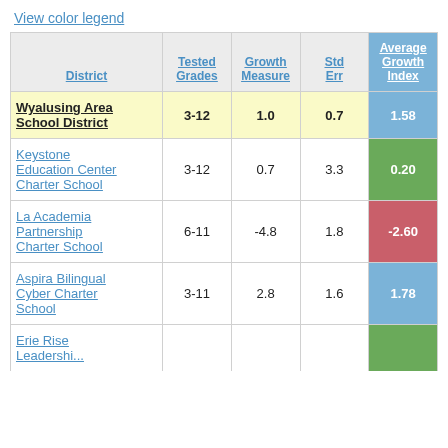View color legend
| District | Tested Grades | Growth Measure | Std Err | Average Growth Index |
| --- | --- | --- | --- | --- |
| Wyalusing Area School District | 3-12 | 1.0 | 0.7 | 1.58 |
| Keystone Education Center Charter School | 3-12 | 0.7 | 3.3 | 0.20 |
| La Academia Partnership Charter School | 6-11 | -4.8 | 1.8 | -2.60 |
| Aspira Bilingual Cyber Charter School | 3-11 | 2.8 | 1.6 | 1.78 |
| Erie Rise Leadership... |  |  |  |  |